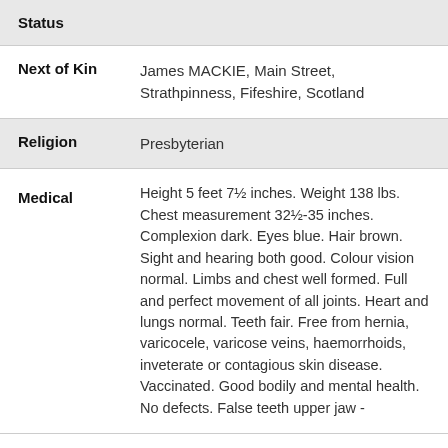Status
| Next of Kin | James MACKIE, Main Street, Strathpinness, Fifeshire, Scotland |
| Religion | Presbyterian |
| Medical | Height 5 feet 7½ inches. Weight 138 lbs. Chest measurement 32½-35 inches. Complexion dark. Eyes blue. Hair brown. Sight and hearing both good. Colour vision normal. Limbs and chest well formed. Full and perfect movement of all joints. Heart and lungs normal. Teeth fair. Free from hernia, varicocele, varicose veins, haemorrhoids, inveterate or contagious skin disease. Vaccinated. Good bodily and mental health. No defects. False teeth upper jaw - |